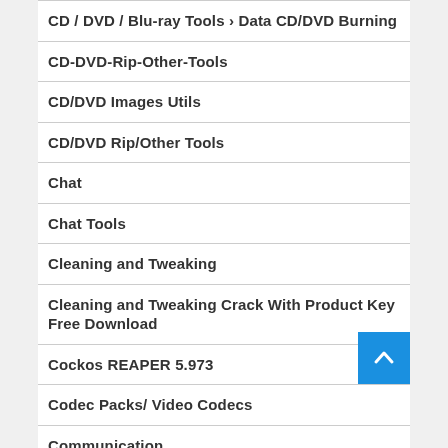CD / DVD / Blu-ray Tools › Data CD/DVD Burning
CD-DVD-Rip-Other-Tools
CD/DVD Images Utils
CD/DVD Rip/Other Tools
Chat
Chat Tools
Cleaning and Tweaking
Cleaning and Tweaking Crack With Product Key Free Download
Cockos REAPER 5.973
Codec Packs/ Video Codecs
Communication